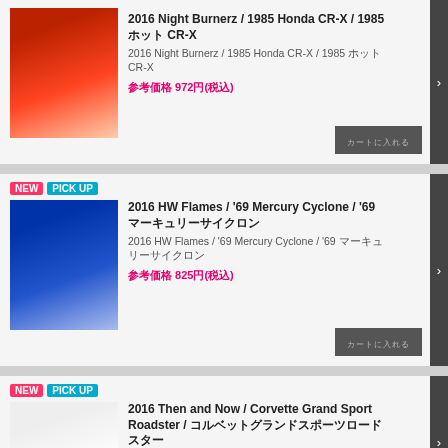[Figure (photo): Red Honda CR-X toy car on packaging]
2016 Night Burnerz / 1985 Honda CR-X / 1985 ホットウィール CR-X
2016 Night Burnerz / 1985 Honda CR-X / 1985 ホットウィール CR-X
参考価格 972円(税込)
[Figure (photo): Blue Mercury Cyclone toy car on packaging]
2016 HW Flames / '69 Mercury Cyclone / '69 マーキュリーサイクロン
2016 HW Flames / '69 Mercury Cyclone / '69 マーキュリーサイクロン
参考価格 825円(税込)
[Figure (photo): White Corvette Grand Sport Roadster toy car on packaging]
2016 Then and Now / Corvette Grand Sport Roadster / コルベットグランドスポーツロードスター
2016 Then and Now / Corvette Grand Sport Roadster / ホットウィール コルベットグランドスポーツロードスター